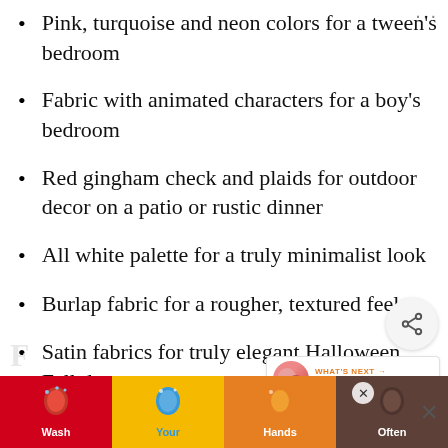Pink, turquoise and neon colors for a tween's bedroom
Fabric with animated characters for a boy's bedroom
Red gingham check and plaids for outdoor decor on a patio or rustic dinner
All white palette for a truly minimalist look
Burlap fabric for a rougher, textured feel
Satin fabrics for truly elegant Halloween Fall decor
[Figure (screenshot): Share button icon (circular button with share symbol)]
[Figure (screenshot): What's Next promo: 43 Best Non-Toxic... with small product image]
[Figure (screenshot): Wash Your Hands Often advertisement banner at bottom of page with colorful hand-washing illustrations]